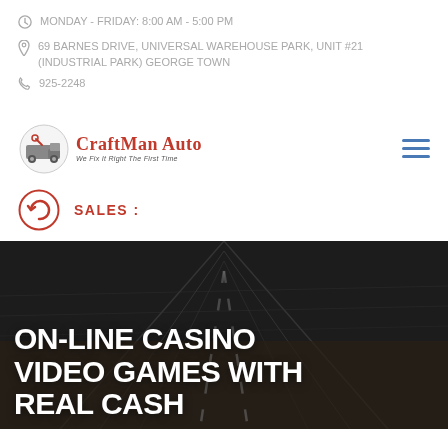MONDAY - FRIDAY: 8:00 AM - 5:00 PM
69 BARNES DRIVE, UNIVERSAL WAREHOUSE PARK, UNIT #21 (INDUSTRIAL PARK) GEORGE TOWN
925-2248
[Figure (logo): CraftMan Auto logo with truck graphic and tagline 'We Fix It Right The First Time']
SALES :
ON-LINE CASINO VIDEO GAMES WITH REAL CASH